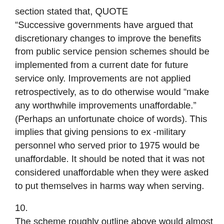section stated that, QUOTE
“Successive governments have argued that discretionary changes to improve the benefits from public service pension schemes should be implemented from a current date for future service only. Improvements are not applied retrospectively, as to do otherwise would “make any worthwhile improvements unaffordable.” (Perhaps an unfortunate choice of words). This implies that giving pensions to ex -military personnel who served prior to 1975 would be unaffordable. It should be noted that it was not considered unaffordable when they were asked to put themselves in harms way when serving.
10.
The scheme roughly outline above would almost certainly not be UNAFFORDABLE as most are probably in receipt of some form of benefit and this would replace any benefit if correctly implemented say via the new Universal